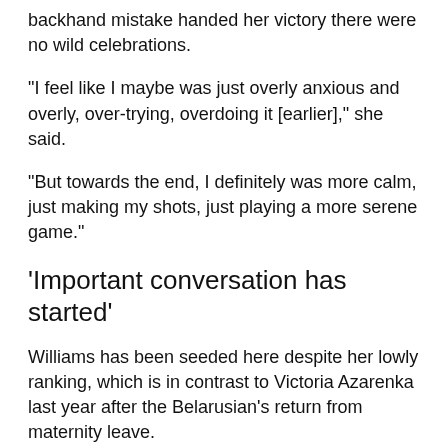backhand mistake handed her victory there were no wild celebrations.
"I feel like I maybe was just overly anxious and overly, over-trying, overdoing it [earlier]," she said.
"But towards the end, I definitely was more calm, just making my shots, just playing a more serene game."
'Important conversation has started'
Williams has been seeded here despite her lowly ranking, which is in contrast to Victoria Azarenka last year after the Belarusian's return from maternity leave.
Former world number one and two-time Australian Open champion Azarenka, who beat Russian Ekaterina Alexandrova 7-6 (7-4) 6-3 to reach the Wimbledon second round on Monday, said that the fact she and Williams had been treated differently was leading to a healthy debate.